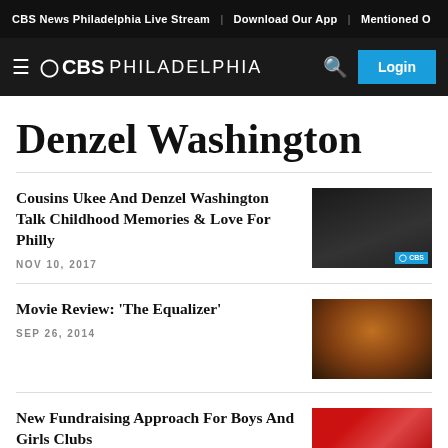CBS News Philadelphia Live Stream | Download Our App | Mentioned O
≡ ⊙CBS PHILADELPHIA  🔍  Login
Denzel Washington
Cousins Ukee And Denzel Washington Talk Childhood Memories & Love For Philly
NOV 10, 2017
[Figure (photo): Denzel Washington interview photo, dark background with CBS logo]
Movie Review: 'The Equalizer'
SEP 26, 2014
[Figure (photo): The Equalizer movie still, dark orange/brown moody lighting]
New Fundraising Approach For Boys And Girls Clubs
[Figure (photo): Boys and Girls Clubs fundraising event photo]